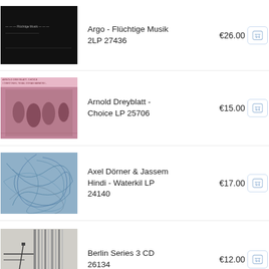[Figure (photo): Album cover for Argo - Flüchtige Musik, black background with faint text]
Argo - Flüchtige Musik 2LP 27436
€26.00
[Figure (photo): Album cover for Arnold Dreyblatt - Choice, purple-toned group photo with text header]
Arnold Dreyblatt - Choice LP 25706
€15.00
[Figure (photo): Album cover for Axel Dörner & Jassem Hindi - Waterkil, blue abstract tangled lines]
Axel Dörner & Jassem Hindi - Waterkil LP 24140
€17.00
[Figure (photo): Album cover for Berlin Series 3, black and white architectural photo with vertical lines]
Berlin Series 3 CD 26134
€12.00